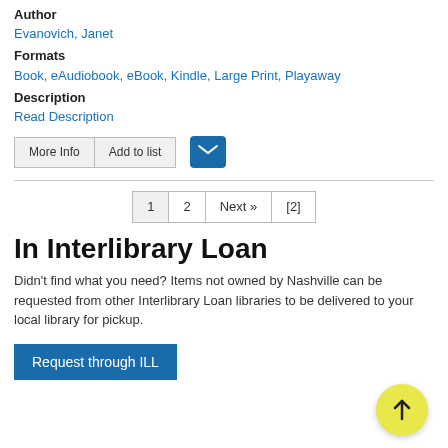Author
Evanovich, Janet
Formats
Book, eAudiobook, eBook, Kindle, Large Print, Playaway
Description
Read Description
[Figure (screenshot): Buttons: More Info, Add to list, and email icon]
[Figure (screenshot): Pagination: 1, 2, Next », [2]]
In Interlibrary Loan
Didn't find what you need? Items not owned by Nashville can be requested from other Interlibrary Loan libraries to be delivered to your local library for pickup.
Request through ILL